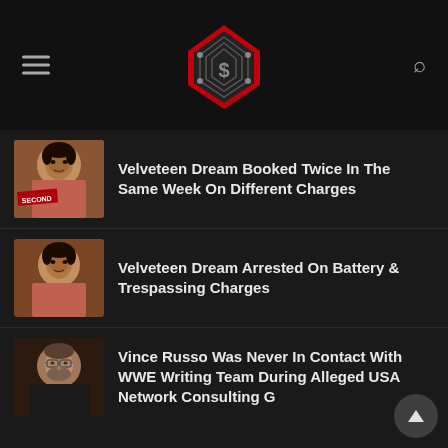[Figure (logo): Wrestling news site logo: a red boxing ring shape with ropes and a dollar sign, diamond/pentagon shaped emblem]
Velveteen Dream Booked Twice In The Same Week On Different Charges
Velveteen Dream Arrested On Battery & Trespassing Charges
Vince Russo Was Never In Contact With WWE Writing Team During Alleged USA Network Consulting G...